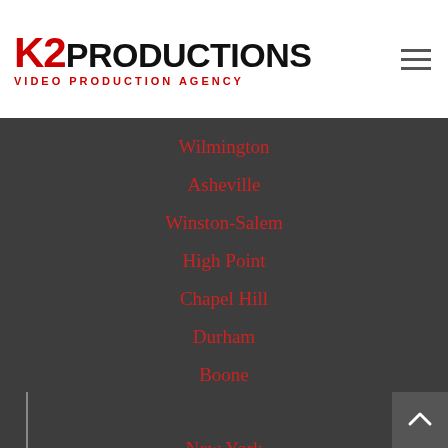[Figure (logo): K2 Productions Video Production Agency logo — K2 in red bold, PRODUCTIONS in black bold on same line, VIDEO PRODUCTION AGENCY subtitle in red spaced caps below]
Wilmington
Asheville
Winston-Salem
High Point
Chapel Hill
Durham
Boone
New York